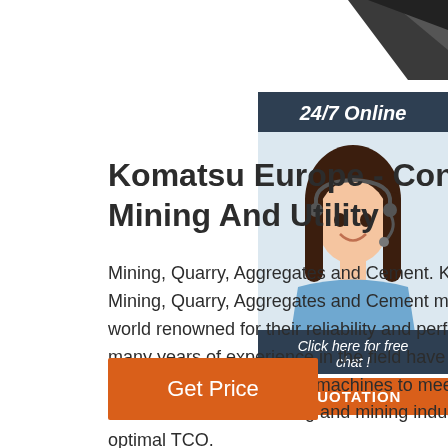[Figure (photo): Dark angular shape at top right corner of page, partial view of machinery or product]
24/7 Online
[Figure (photo): Customer service representative, woman with headset smiling, wearing blue blouse]
Click here for free chat !
QUOTATION
Komatsu Europe - Construction Mining And Utility
Mining, Quarry, Aggregates and Cement. Komatsu Mining, Quarry, Aggregates and Cement models are world renowned for their reliability and performance. many years of experience in the field have given us the expertise to offer the best machines to meet the demands of the extracting and mining industry, with an optimal TCO.
Get Price